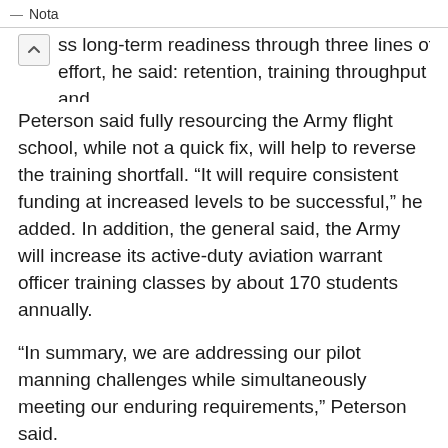Nota
ss long-term readiness through three lines of effort, he said: retention, training throughput and accessions.
Peterson said fully resourcing the Army flight school, while not a quick fix, will help to reverse the training shortfall. “It will require consistent funding at increased levels to be successful,” he added. In addition, the general said, the Army will increase its active-duty aviation warrant officer training classes by about 170 students annually.
“In summary, we are addressing our pilot manning challenges while simultaneously meeting our enduring requirements,” Peterson said.
He told the subcommittee the Budget Control Act of 2011, which imposes across-the-board spending cuts in